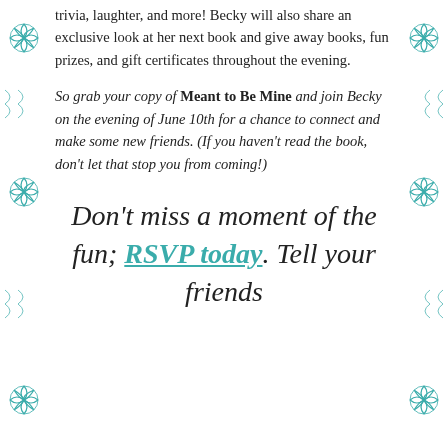trivia, laughter, and more! Becky will also share an exclusive look at her next book and give away books, fun prizes, and gift certificates throughout the evening.
So grab your copy of Meant to Be Mine and join Becky on the evening of June 10th for a chance to connect and make some new friends. (If you haven't read the book, don't let that stop you from coming!)
Don't miss a moment of the fun; RSVP today. Tell your friends